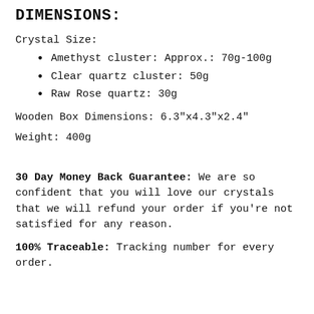DIMENSIONS:
Crystal Size:
Amethyst cluster: Approx.: 70g-100g
Clear quartz cluster: 50g
Raw Rose quartz: 30g
Wooden Box Dimensions: 6.3"x4.3"x2.4"
Weight: 400g
30 Day Money Back Guarantee: We are so confident that you will love our crystals that we will refund your order if you're not satisfied for any reason.
100% Traceable: Tracking number for every order.